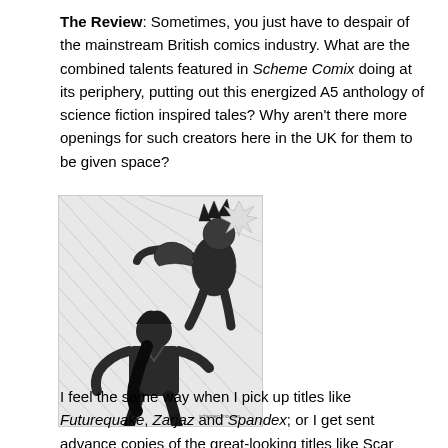The Review: Sometimes, you just have to despair of the mainstream British comics industry. What are the combined talents featured in Scheme Comix doing at its periphery, putting out this energized A5 anthology of science fiction inspired tales? Why aren't there more openings for such creators here in the UK for them to be given space?
[Figure (illustration): Black and white comic book illustration showing two superhero-style figures in dynamic action poses, with speed lines and action effects in the background]
I feel the same way when I pick up titles like Futurequake, Zarjaz and Spandex; or I get sent advance copies of the great-looking titles like Scar Comics superb Madam Samurai. We have such a huge, homegrown